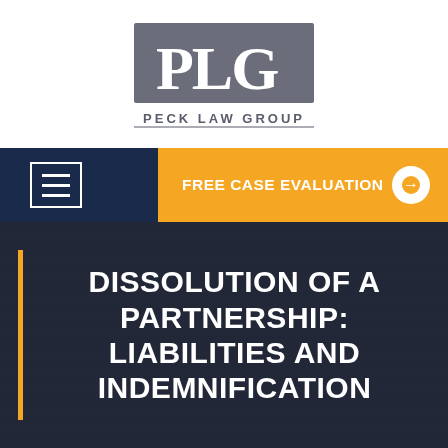[Figure (logo): Peck Law Group logo — large grey square with white serif letters PLG, below it the text PECK LAW GROUP in spaced grey capitals]
[Figure (screenshot): Navigation bar: dark navy background with hamburger menu icon on left inside a white rectangle border; orange call-to-action button on right reading FREE CASE EVALUATION with a white circle arrow icon]
DISSOLUTION OF A PARTNERSHIP: LIABILITIES AND INDEMNIFICATION